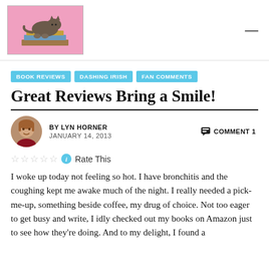Lyn Horner's Corner
BOOK REVIEWS
DASHING IRISH
FAN COMMENTS
Great Reviews Bring a Smile!
BY LYN HORNER   JANUARY 14, 2013   COMMENT 1
Rate This
I woke up today not feeling so hot. I have bronchitis and the coughing kept me awake much of the night. I really needed a pick-me-up, something beside coffee, my drug of choice. Not too eager to get busy and write, I idly checked out my books on Amazon just to see how they're doing. And to my delight, I found a couple of fresh new book reviews to greet me.